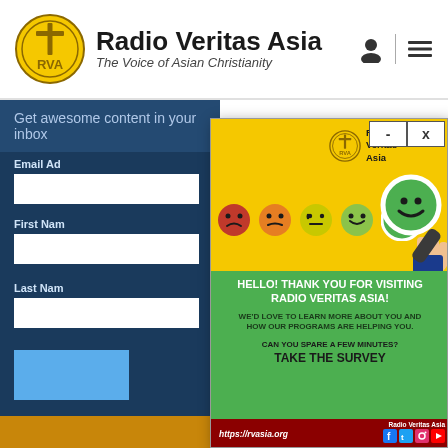[Figure (screenshot): Radio Veritas Asia website screenshot showing newsletter signup form in background and a survey popup overlay. The popup has yellow top section with emoji faces (red sad to green happy), RVA logo, magnifier graphic, and green bottom section with text 'HELLO! THANK YOU FOR VISITING RADIO VERITAS ASIA!' and 'WE'D LOVE TO LEARN MORE ABOUT YOU AND HOW OUR PROGRAMS ARE HELPING YOU. CAN YOU SPARE A FEW MINUTES? TAKE THE SURVEY'. Footer shows https://rvasia.org and Radio Veritas Asia social media icons.]